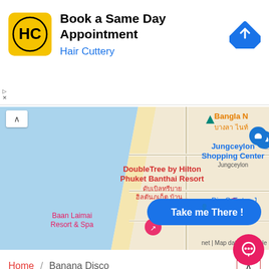[Figure (screenshot): Advertisement banner for Hair Cuttery with logo, title 'Book a Same Day Appointment', subtitle 'Hair Cuttery', and a navigation arrow icon]
[Figure (map): Google Maps screenshot showing Phuket area with DoubleTree by Hilton Phuket Banthai Resort, Jungceylon Shopping Center, Baan Laimai Resort & Spa, Big C Extra, with a blue 'Take me There!' button overlay and road 4030 marked]
Home / Banana Disco
Opened since 1993, Banana Disco is the oldest and one of the most popular nightclubs in Beach. Featuring an outdoor bar area and an air-conditioned disco, the